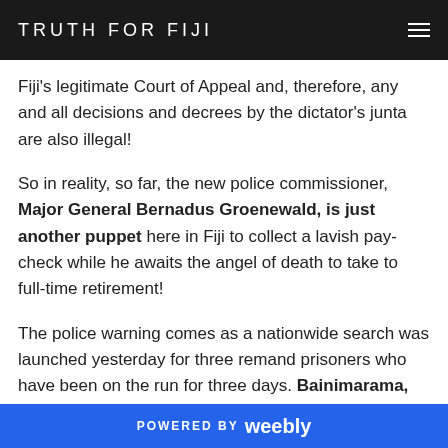TRUTH FOR FIJI
Fiji's legitimate Court of Appeal and, therefore, any and all decisions and decrees by the dictator's junta are also illegal!
So in reality, so far, the new police commissioner, Major General Bernadus Groenewald, is just another puppet here in Fiji to collect a lavish pay-check while he awaits the angel of death to take to full-time retirement!
The police warning comes as a nationwide search was launched yesterday for three remand prisoners who have been on the run for three days. Bainimarama, khaiyum
POWERED BY weebly